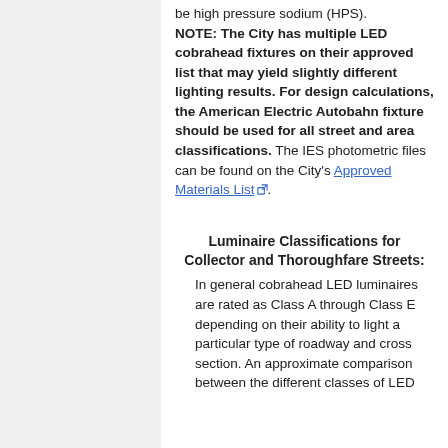be high pressure sodium (HPS). NOTE: The City has multiple LED cobrahead fixtures on their approved list that may yield slightly different lighting results. For design calculations, the American Electric Autobahn fixture should be used for all street and area classifications. The IES photometric files can be found on the City's Approved Materials List.
Luminaire Classifications for Collector and Thoroughfare Streets:
In general cobrahead LED luminaires are rated as Class A through Class E depending on their ability to light a particular type of roadway and cross section. An approximate comparison between the different classes of LED